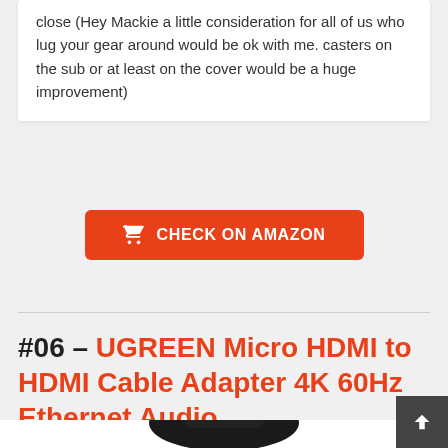close (Hey Mackie a little consideration for all of us who lug your gear around would be ok with me. casters on the sub or at least on the cover would be a huge improvement)
CHECK ON AMAZON
#06 – UGREEN Micro HDMI to HDMI Cable Adapter 4K 60Hz Ethernet Audio
[Figure (photo): Product image of a black HDMI cable adapter, partially visible at bottom of page]